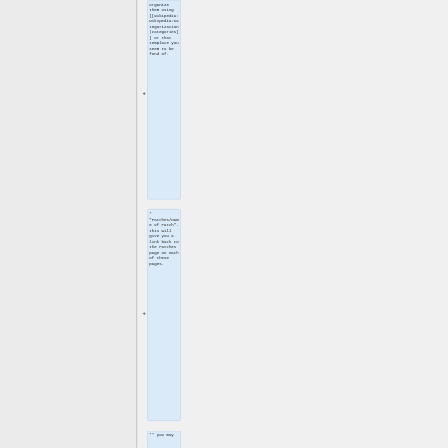organize them using [[wikipedia:Wikipedia:Categorization|categories]] or that template you seem to be fond of.
* "Patches/Name of Patch". this will give you a link back to the Patches page on each of these pages.
** you may